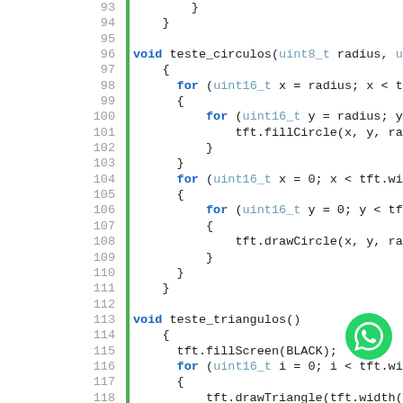[Figure (screenshot): Source code editor showing C++ code for teste_circulos and teste_triangulos functions, lines 93-121, with green vertical bar as line indicator and a WhatsApp button overlay.]